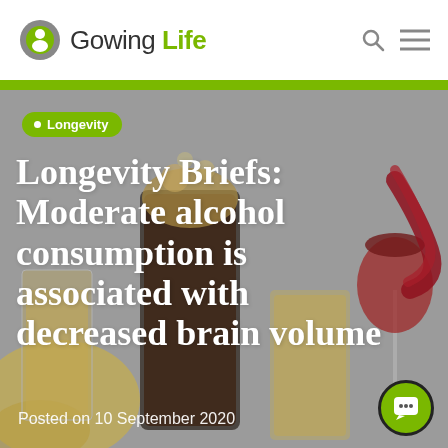Gowing Life
[Figure (photo): Background photo of various drink glasses including a dark cola/beer glass, a yellow drink, and red wine being poured into a wine glass, with a grey/white background]
Longevity
Longevity Briefs: Moderate alcohol consumption is associated with decreased brain volume
Posted on 10 September 2020